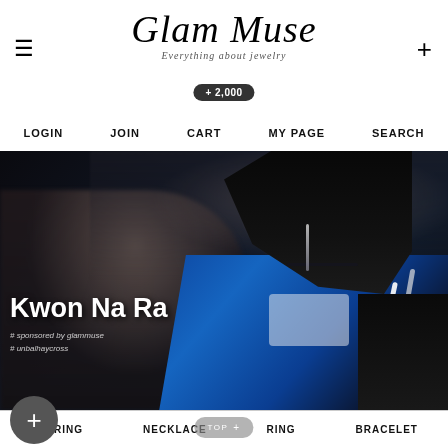≡   Glam Muse — Everything about jewelry   +
+ 2,000
Glam Muse
Everything about jewelry
LOGIN  JOIN  CART  MY PAGE  SEARCH
[Figure (photo): Dark fashion event photo featuring a young woman (Kwon Na Ra) wearing a blue jacket, white t-shirt, and dangling earrings, surrounded by a crowd in the background]
Kwon Na Ra
# sponsored by glammuse
# unbalhaycross
EARRING  NECKLACE  RING  BRACELET